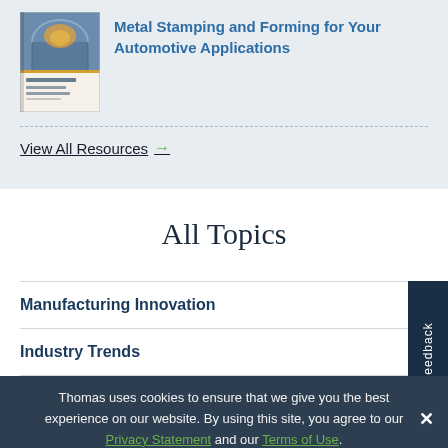[Figure (photo): Book cover image for Metal Stamping and Forming for Automotive Applications - shows industrial manufacturing scene]
Metal Stamping and Forming for Your Automotive Applications
View All Resources →
All Topics
Manufacturing Innovation
Industry Trends
Thomas uses cookies to ensure that we give you the best experience on our website. By using this site, you agree to our Privacy Statement and our Terms of Use.